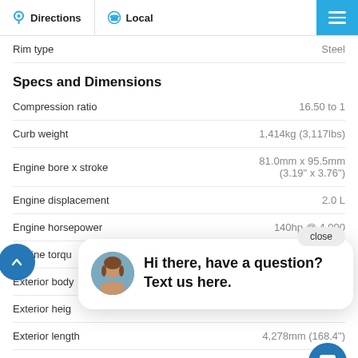Directions | Local
| Spec | Value |
| --- | --- |
| Rim type | Steel |
| Compression ratio | 16.50 to 1 |
| Curb weight | 1,414kg (3,117lbs) |
| Engine bore x stroke | 81.0mm x 95.5mm (3.19" x 3.76") |
| Engine displacement | 2.0 L |
| Engine horsepower | 140hp @ 4,000 |
| Engine torqu |  |
| Exterior body |  |
| Exterior heig |  |
| Exterior length | 4,278mm (168.4") |
| Front headroom | 1,000mm (39.4") |
| Front legroom | 1,048mm (41.3") |
| Front shoulder room | 1,404mm (55.3") |
| GVWR | 1,780kg (3,924lbs) |
Specs and Dimensions
[Figure (other): Chat popup with avatar photo and message: Hi there, have a question? Text us here. Close button visible. Blue chat bubble button in bottom right.]